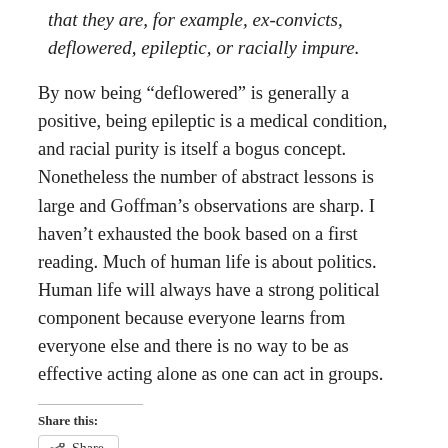that they are, for example, ex-convicts, deflowered, epileptic, or racially impure.
By now being “deflowered” is generally a positive, being epileptic is a medical condition, and racial purity is itself a bogus concept. Nonetheless the number of abstract lessons is large and Goffman’s observations are sharp. I haven’t exhausted the book based on a first reading. Much of human life is about politics. Human life will always have a strong political component because everyone learns from everyone else and there is no way to be as effective acting alone as one can act in groups.
Share this:
Share
Like